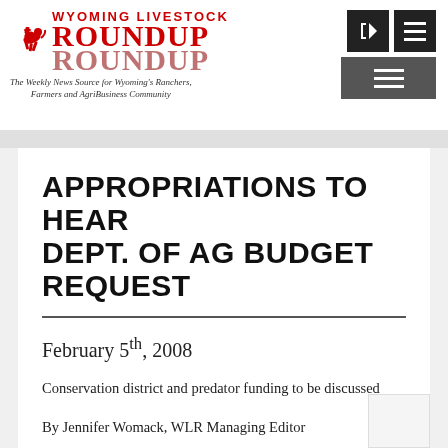Wyoming Livestock Roundup — The Weekly News Source for Wyoming's Ranchers, Farmers and AgriBusiness Community
APPROPRIATIONS TO HEAR DEPT. OF AG BUDGET REQUEST
February 5th, 2008
Conservation district and predator funding to be discussed
By Jennifer Womack, WLR Managing Editor